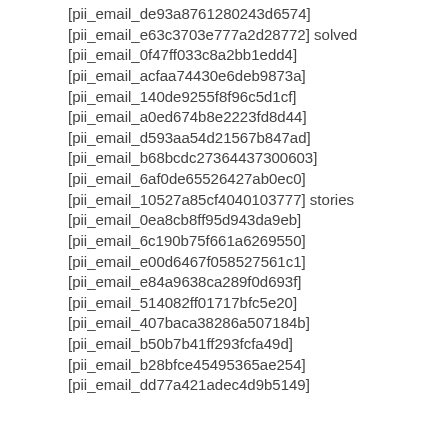[pii_email_de93a8761280243d6574]
[pii_email_e63c3703e777a2d28772] solved
[pii_email_0f47ff033c8a2bb1edd4]
[pii_email_acfaa74430e6deb9873a]
[pii_email_140de9255f8f96c5d1cf]
[pii_email_a0ed674b8e2223fd8d44]
[pii_email_d593aa54d21567b847ad]
[pii_email_b68bcdc27364437300603]
[pii_email_6af0de65526427ab0ec0]
[pii_email_10527a85cf4040103777] stories
[pii_email_0ea8cb8ff95d943da9eb]
[pii_email_6c190b75f661a6269550]
[pii_email_e00d6467f058527561c1]
[pii_email_e84a9638ca289f0d693f]
[pii_email_514082ff01717bfc5e20]
[pii_email_407baca38286a507184b]
[pii_email_b50b7b41ff293fcfa49d]
[pii_email_b28bfce45495365ae254]
[pii_email_dd77a421adec4d9b5149]